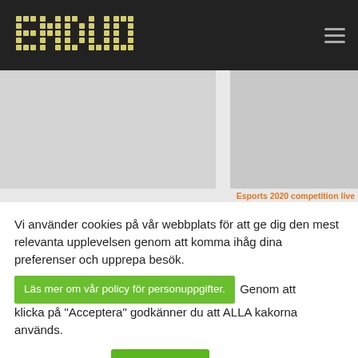ENDUO
[Figure (screenshot): Two gray image placeholders side by side below the header, with orange text 'Esports 2020 competition live' partially visible at bottom right]
Vi använder cookies på vår webbplats för att ge dig den mest relevanta upplevelsen genom att komma ihåg dina preferenser och upprepa besök.
Läs mer om vår policy för personuppgifter. Genom att klicka på "Acceptera" godkänner du att ALLA kakorna används.
Cookie settings   Acceptera